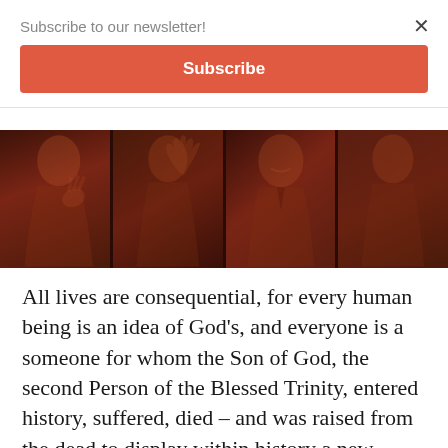Subscribe to our newsletter!
Subscribe
[Figure (photo): A horizontal strip of four photo panels, each showing a person, with a dark reddish-brown overlay. From left to right: an elderly woman, an elderly man gesturing with hand raised, another elderly man smiling, and a middle-aged man.]
All lives are consequential, for every human being is an idea of God’s, and everyone is a someone for whom the Son of God, the second Person of the Blessed Trinity, entered history, suffered, died – and was raised from the dead to display within history a new, glorified humanity. Thus to every life, as Mrs. Loman noted in Death of a